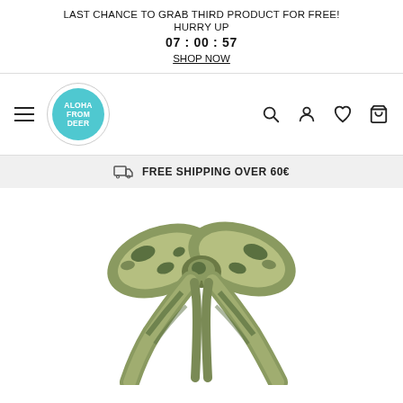LAST CHANCE TO GRAB THIRD PRODUCT FOR FREE! HURRY UP 07 : 00 : 57 SHOP NOW
[Figure (logo): Aloha From Deer brand logo — circular logo with teal/turquoise background and white bold text reading ALOHA FROM DEER]
FREE SHIPPING OVER 60€
[Figure (photo): Camouflage patterned fabric bow/ribbon tie in green and beige camo print, tied in a decorative knot with long tails hanging down]